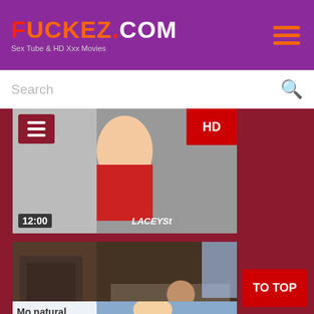FUCKEZ.COM — Sex Tube & HD Xxx Movies
[Figure (screenshot): Website header with purple background, orange/red logo 'FUCKEZ.COM', tagline 'Sex Tube & HD Xxx Movies', and hamburger menu icon]
[Figure (screenshot): Search bar with placeholder text 'Search' and magnifying glass icon]
[Figure (photo): Video thumbnail showing a blonde woman in red lingerie, duration 12:00, HD badge, LaceySt watermark]
[Figure (photo): Video thumbnail showing women in a living room scene, duration 10:00, ChicksOutWest.com watermark]
[Figure (photo): Partial video thumbnail at bottom with blonde woman outdoors, Mo Natural watermark, TO TOP button]